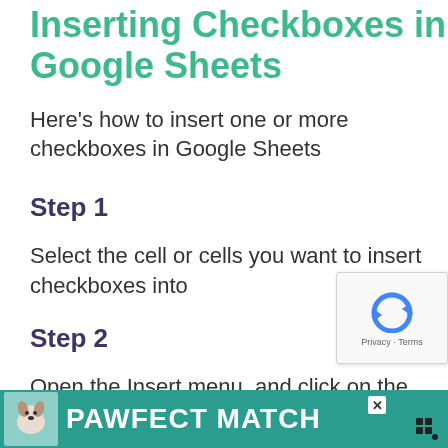Inserting Checkboxes in Google Sheets
Here's how to insert one or more checkboxes in Google Sheets
Step 1
Select the cell or cells you want to insert checkboxes into
Step 2
Open the Insert menu, and click on the Checkbox option near the bottom
[Figure (screenshot): reCAPTCHA widget showing recycle icon with Privacy - Terms text]
[Figure (photo): Advertisement banner for PAWFECT MATCH featuring a dog photo on teal background with close button]